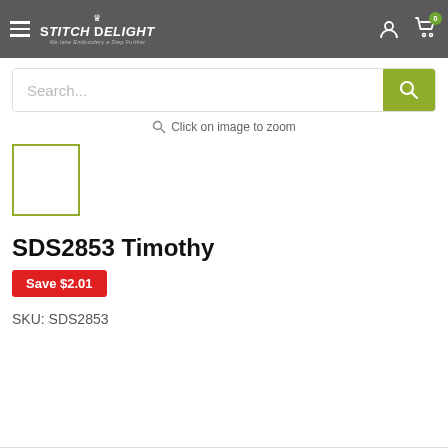[Figure (screenshot): StitchDelight website header with hamburger menu, logo, user icon and cart icon with badge showing 0]
[Figure (screenshot): Search bar with placeholder text 'Search...' and olive/green search button with magnifier icon]
Click on image to zoom
[Figure (photo): Small product thumbnail box with olive green border, image area blank/white]
SDS2853 Timothy
Save $2.01
SKU: SDS2853